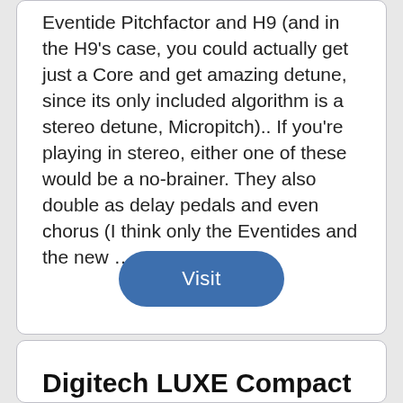Eventide Pitchfactor and H9 (and in the H9's case, you could actually get just a Core and get amazing detune, since its only included algorithm is a stereo detune, Micropitch).. If you're playing in stereo, either one of these would be a no-brainer. They also double as delay pedals and even chorus (I think only the Eventides and the new ...
Visit
Digitech LUXE Compact Polyphonic Detuner - Amazon.com